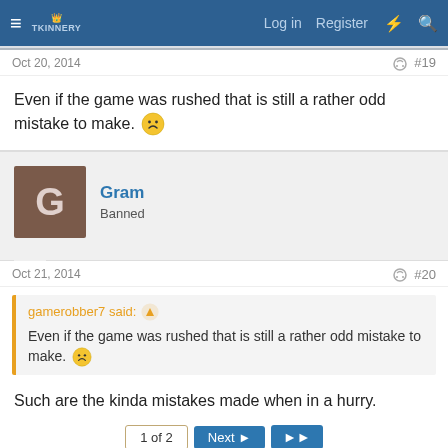Log in  Register
Oct 20, 2014    #19
Even if the game was rushed that is still a rather odd mistake to make. 🙁
Gram
Banned
Oct 21, 2014    #20
gamerobber7 said: ↑
Even if the game was rushed that is still a rather odd mistake to make. 🙁
Such are the kinda mistakes made when in a hurry.
1 of 2   Next ▶   ▶▶